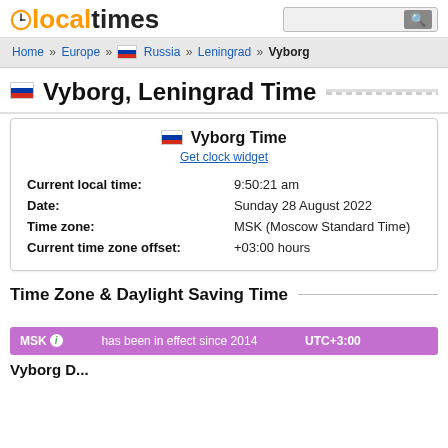localtimes logo and search bar
Home » Europe » Russia » Leningrad » Vyborg
Vyborg, Leningrad Time
Vyborg Time
Get clock widget
Current local time: 9:50:21 am
Date: Sunday 28 August 2022
Time zone: MSK (Moscow Standard Time)
Current time zone offset: +03:00 hours
Time Zone & Daylight Saving Time
MSK has been in effect since 2014 UTC+3:00
Vyborg D...